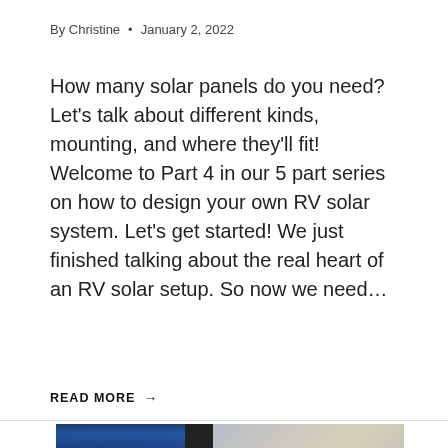By Christine • January 2, 2022
How many solar panels do you need? Let's talk about different kinds, mounting, and where they'll fit! Welcome to Part 4 in our 5 part series on how to design your own RV solar system. Let's get started! We just finished talking about the real heart of an RV solar setup. So now we need…
READ MORE →
[Figure (photo): Photo showing RV solar equipment and installation components with blue and dark colored cables and panels visible]